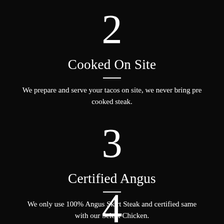2
Cooked On Site
We prepare and serve your tacos on site, we never bring pre cooked steak.
3
Certified Angus
We only use 100% Angus Skirt Steak and certified same with our Select Chicken.
4